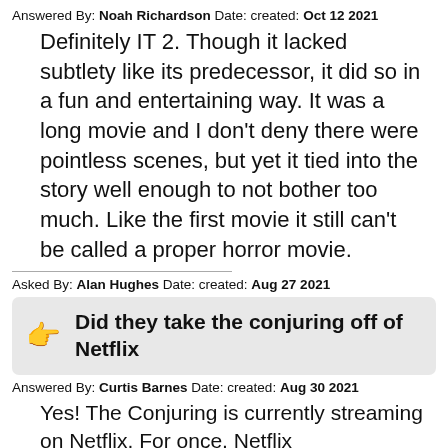Answered By: Noah Richardson Date: created: Oct 12 2021
Definitely IT 2. Though it lacked subtlety like its predecessor, it did so in a fun and entertaining way. It was a long movie and I don't deny there were pointless scenes, but yet it tied into the story well enough to not bother too much. Like the first movie it still can't be called a proper horror movie.
Asked By: Alan Hughes Date: created: Aug 27 2021
Did they take the conjuring off of Netflix
Answered By: Curtis Barnes Date: created: Aug 30 2021
Yes! The Conjuring is currently streaming on Netflix. For once, Netflix